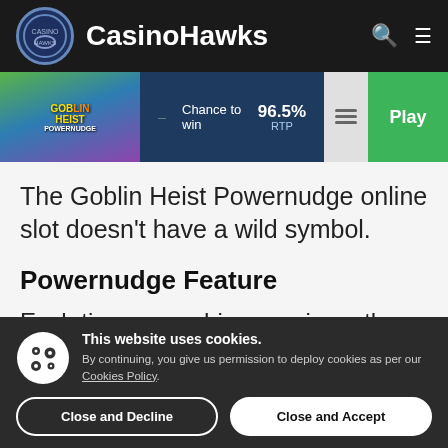CasinoHawks
[Figure (screenshot): Goblin Heist Powernudge game thumbnail with game info bar showing 96.5% RTP, Chance to win label, and Play button]
The Goblin Heist Powernudge online slot doesn't have a wild symbol.
Powernudge Feature
Each time you achieve a win on the Goblin
This website uses cookies. By continuing, you give us permission to deploy cookies as per our Cookies Policy.
Close and Decline
Close and Accept